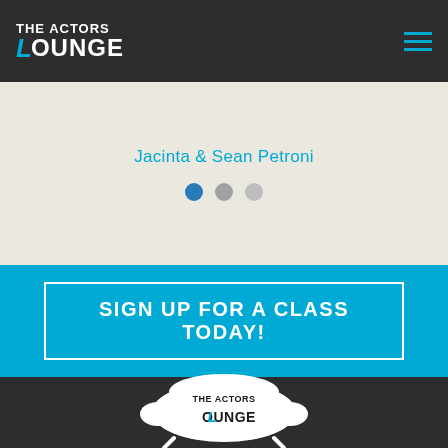[Figure (logo): The Actors Lounge logo in white text on dark bar header, with hamburger menu icon in teal on the right]
Jacinta & Sean Petroni
[Figure (other): Carousel navigation dots: one filled blue, two grey]
SIGN UP FOR A CLASS TODAY!
[Figure (logo): The Actors Lounge logo on a white sofa/armchair illustration against dark background]